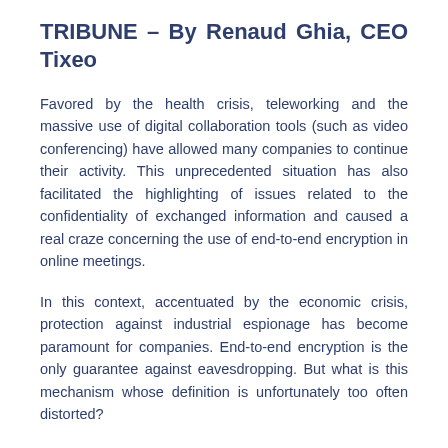TRIBUNE – By Renaud Ghia, CEO Tixeo
Favored by the health crisis, teleworking and the massive use of digital collaboration tools (such as video conferencing) have allowed many companies to continue their activity. This unprecedented situation has also facilitated the highlighting of issues related to the confidentiality of exchanged information and caused a real craze concerning the use of end-to-end encryption in online meetings.
In this context, accentuated by the economic crisis, protection against industrial espionage has become paramount for companies. End-to-end encryption is the only guarantee against eavesdropping. But what is this mechanism whose definition is unfortunately too often distorted?